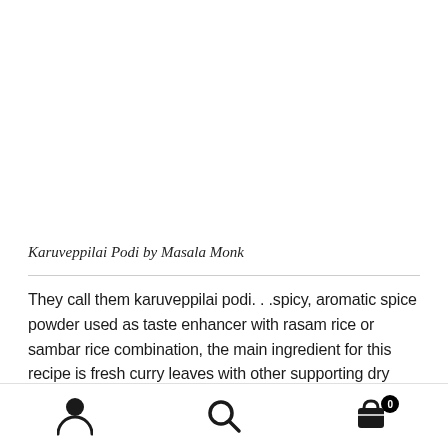[Figure (photo): Product image area (white/blank space at top of page)]
Karuveppilai Podi by Masala Monk
They call them karuveppilai podi. . .spicy, aromatic spice powder used as taste enhancer with rasam rice or sambar rice combination, the main ingredient for this recipe is fresh curry leaves with other supporting dry spices.
Navigation bar with user icon, search icon, and cart icon with badge 0